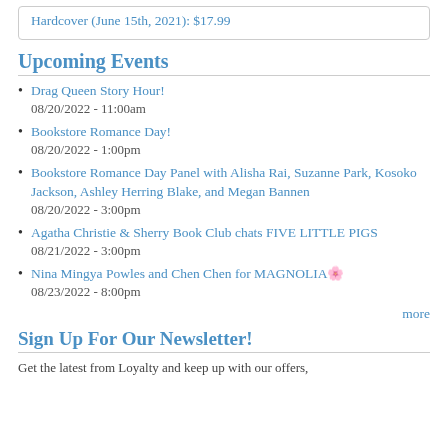Hardcover (June 15th, 2021): $17.99
Upcoming Events
Drag Queen Story Hour!
08/20/2022 - 11:00am
Bookstore Romance Day!
08/20/2022 - 1:00pm
Bookstore Romance Day Panel with Alisha Rai, Suzanne Park, Kosoko Jackson, Ashley Herring Blake, and Megan Bannen
08/20/2022 - 3:00pm
Agatha Christie & Sherry Book Club chats FIVE LITTLE PIGS
08/21/2022 - 3:00pm
Nina Mingya Powles and Chen Chen for MAGNOLIA🌸
08/23/2022 - 8:00pm
more
Sign Up For Our Newsletter!
Get the latest from Loyalty and keep up with our offers,